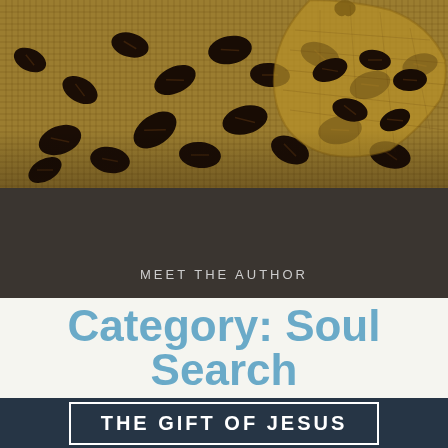[Figure (photo): Coffee beans spilling out of a burlap sack on a burlap cloth background]
MEET THE AUTHOR
Category: Soul Search
THE GIFT OF JESUS